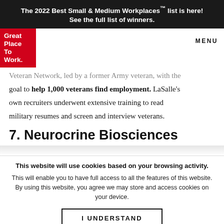The 2022 Best Small & Medium Workplaces™ list is here! See the full list of winners.
[Figure (logo): Great Place To Work red logo box]
MENU
Veteran Network, led by a former Army veteran, with the goal to help 1,000 veterans find employment. LaSalle's own recruiters underwent extensive training to read military resumes and screen and interview veterans.
7. Neurocrine Biosciences
This website will use cookies based on your browsing activity.
This will enable you to have full access to all the features of this website. By using this website, you agree we may store and access cookies on your device.
I UNDERSTAND